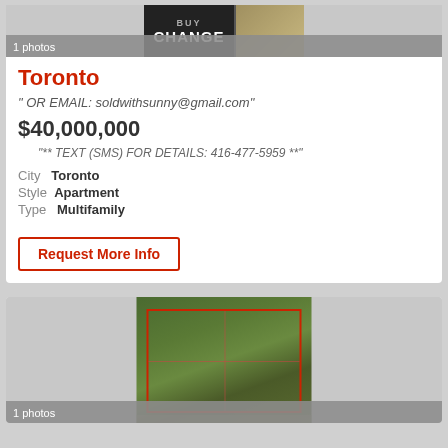[Figure (photo): Partial photo of a real estate sign with 'CHANGE' text visible, gray photo strip with '1 photos' label]
1 photos
Toronto
" OR EMAIL: soldwithsunny@gmail.com"
$40,000,000
"** TEXT (SMS) FOR DETAILS: 416-477-5959 **"
City   Toronto
Style   Apartment
Type   Multifamily
Request More Info
[Figure (photo): Aerial satellite view of a large agricultural land parcel outlined in red, with green fields divided into sections]
1 photos